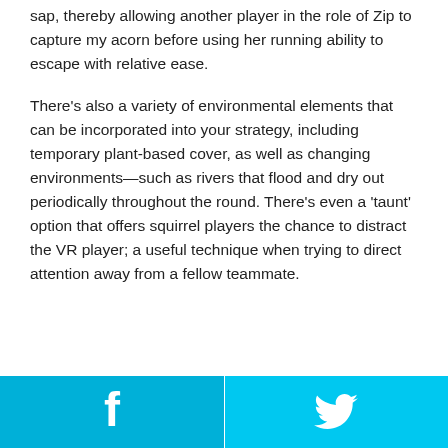sap, thereby allowing another player in the role of Zip to capture my acorn before using her running ability to escape with relative ease.
There's also a variety of environmental elements that can be incorporated into your strategy, including temporary plant-based cover, as well as changing environments—such as rivers that flood and dry out periodically throughout the round. There's even a 'taunt' option that offers squirrel players the chance to distract the VR player; a useful technique when trying to direct attention away from a fellow teammate.
[Figure (other): Footer bar with Facebook and Twitter share buttons. Left half is cyan/blue with Facebook 'f' icon, right half is lighter cyan with Twitter bird icon.]